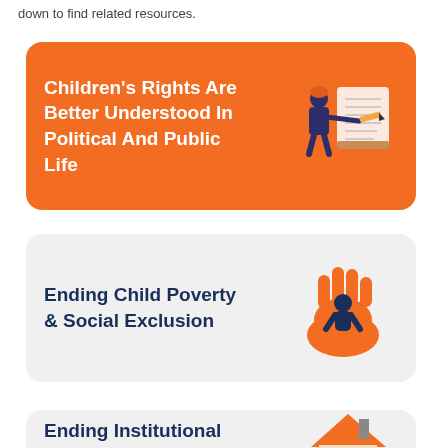down to find related resources.
[Figure (illustration): Orange card with white text: Children's Rights Are Better Understood In Political And Public Life, with a person writing on a document illustration on the right]
[Figure (illustration): Light grey card with dark blue text: Ending Child Poverty & Social Exclusion, with an orange hand holding a dark silhouette illustration on the right]
[Figure (illustration): Light grey card with dark blue text: Ending Institutional Care For All, with a house/home illustration partially visible on the right]